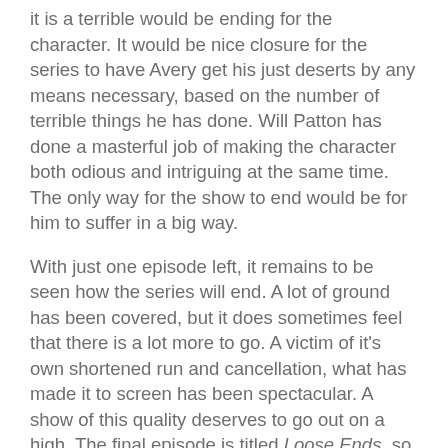it is a terrible would be ending for the character. It would be nice closure for the series to have Avery get his just deserts by any means necessary, based on the number of terrible things he has done. Will Patton has done a masterful job of making the character both odious and intriguing at the same time. The only way for the show to end would be for him to suffer in a big way.
With just one episode left, it remains to be seen how the series will end. A lot of ground has been covered, but it does sometimes feel that there is a lot more to go. A victim of it's own shortened run and cancellation, what has made it to screen has been spectacular. A show of this quality deserves to go out on a high. The final episode is titled Loose Ends, so let's all hope that none are left open.